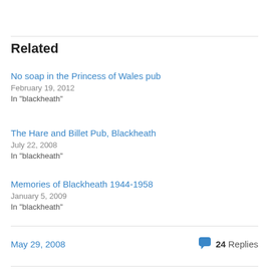Related
No soap in the Princess of Wales pub
February 19, 2012
In "blackheath"
The Hare and Billet Pub, Blackheath
July 22, 2008
In "blackheath"
Memories of Blackheath 1944-1958
January 5, 2009
In "blackheath"
May 29, 2008   24 Replies